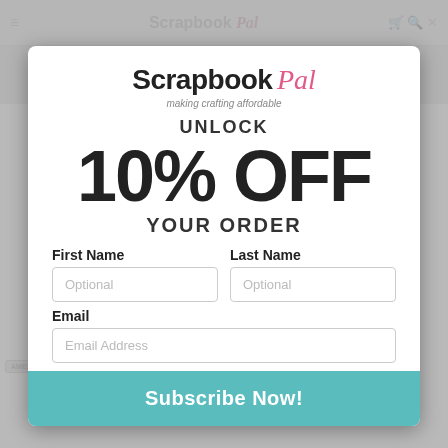[Figure (screenshot): Scrapbook Pal website screenshot showing navigation header with logo, FREE shipping banner, payment method icons, and a product listing for Copic Sketch Marker Nite Blue BG45 at $5.85 (was $7.99), quantity selector, and wishlist/cart buttons]
[Figure (infographic): Scrapbook Pal logo with 'making crafting affordable' tagline shown prominently]
UNLOCK
10% OFF
YOUR ORDER
First Name
Optional
Last Name
Optional
Email
Email Address
Subscribe Now!